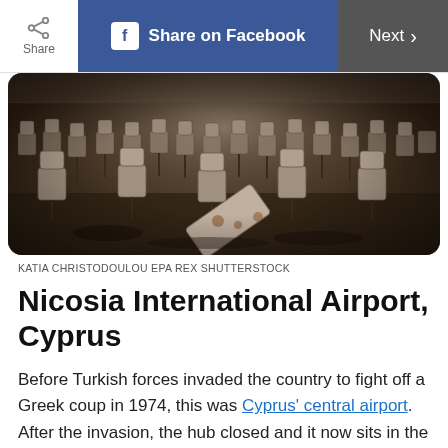Share | Share on Facebook | Next >
[Figure (photo): Abandoned interior of Nicosia International Airport showing rows of deteriorating airport seats scattered across a dirty floor, photographed in a dilapidated state.]
KATIA CHRISTODOULOU EPA REX SHUTTERSTOCK
Nicosia International Airport, Cyprus
Before Turkish forces invaded the country to fight off a Greek coup in 1974, this was Cyprus' central airport. After the invasion, the hub closed and it now sits in the United Nations-controlled buffer zone between the north and south of the country.